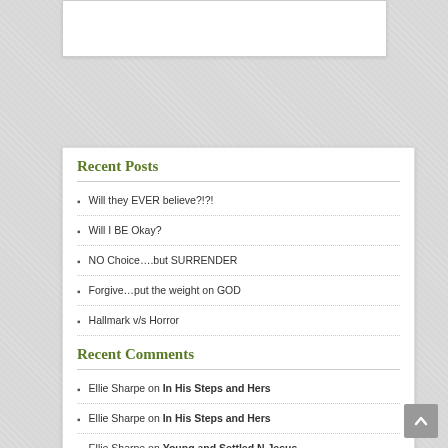Recent Posts
Will they EVER believe?!?!
Will I BE Okay?
NO Choice….but SURRENDER
Forgive…put the weight on GOD
Hallmark v/s Horror
Recent Comments
Ellie Sharpe on In His Steps and Hers
Ellie Sharpe on In His Steps and Hers
Ellie Sharpe on Young and Settled N Jesus